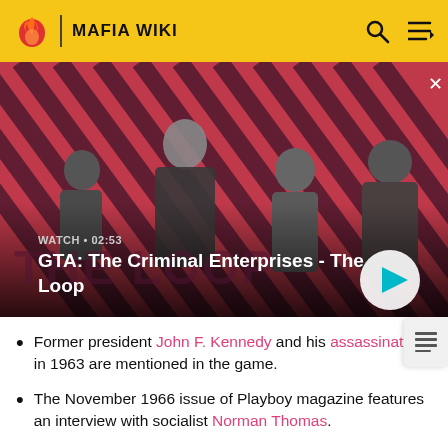MAFIA WIKI
[Figure (screenshot): GTA: The Criminal Enterprises - The Loop video banner with four characters on a diagonal striped red/dark background. Includes WATCH • 02:53 label and play button.]
GTA: The Criminal Enterprises - The Loop
Former president John F. Kennedy and his assassination in 1963 are mentioned in the game.
The November 1966 issue of Playboy magazine features an interview with socialist Norman Thomas.
Segregationist George Wallace and his third-party